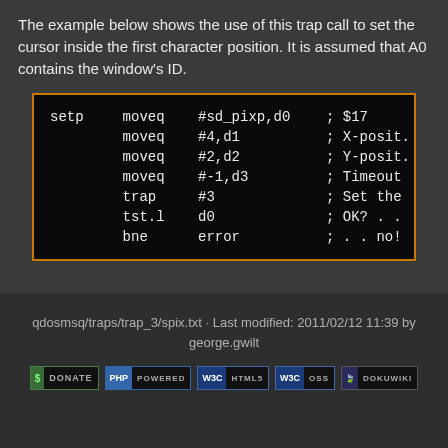The example below shows the use of this trap call to set the cursor inside the first character position. It is assumed that A0 contains the window's ID.
[Figure (other): Assembly code block with orange border showing setp trap call example: moveq #sd_pixp,d0 ; $17 / moveq #4,d1 ; X-posit. / moveq #2,d2 ; Y-posit. / moveq #-1,d3 ; Timeout / trap #3 ; Set the / tst.l d0 ; OK? . . / bne error ; . . no!]
qdosmsq/traps/trap_3/spix.txt · Last modified: 2011/02/12 11:39 by george.gwilt